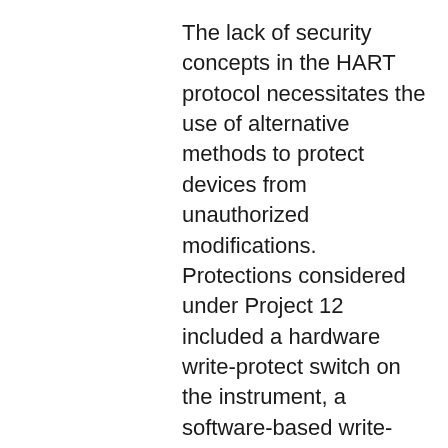The lack of security concepts in the HART protocol necessitates the use of alternative methods to protect devices from unauthorized modifications. Protections considered under Project 12 included a hardware write-protect switch on the instrument, a software-based write-protect password or pin code on the instrument, password on the IMS/AMS (or its underlying operating system platform) that remotely manages the instrument, and a variety of disparate protections provided by various SIS solutions.
Successfully demonstrated